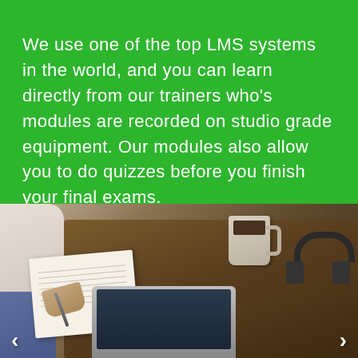We use one of the top LMS systems in the world, and you can learn directly from our trainers who's modules are recorded on studio grade equipment. Our modules also allow you to do quizzes before you finish your final exams.
[Figure (photo): Overhead view of a person writing in a notebook at a wooden desk with a laptop, coffee mug, and headphones]